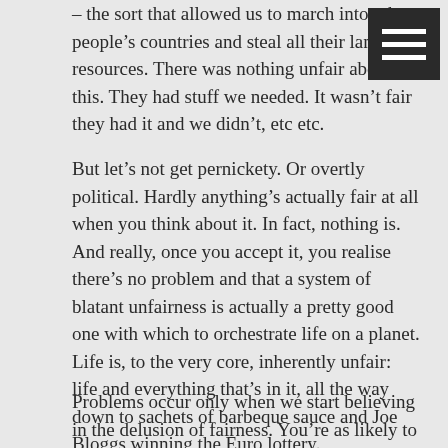– the sort that allowed us to march into other people's countries and steal all their land and resources. There was nothing unfair about this. They had stuff we needed. It wasn't fair they had it and we didn't, etc etc.
But let's not get pernickety. Or overtly political. Hardly anything's actually fair at all when you think about it. In fact, nothing is. And really, once you accept it, you realise there's no problem and that a system of blatant unfairness is actually a pretty good one with which to orchestrate life on a planet. Life is, to the very core, inherently unfair: life and everything that's in it, all the way down to sachets of barbeque sauce and Joe Bloggs winning the Euro lottery.
Problems occur only when we start believing in the delusion of fairness. You're as likely to hear a Frenchman at Eurovision say 'and our twelve points